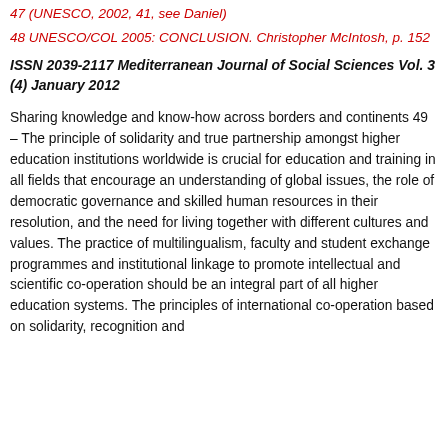47 (UNESCO, 2002, 41, see Daniel)
48 UNESCO/COL 2005: CONCLUSION. Christopher McIntosh, p. 152
ISSN 2039-2117 Mediterranean Journal of Social Sciences Vol. 3 (4) January 2012
Sharing knowledge and know-how across borders and continents 49 – The principle of solidarity and true partnership amongst higher education institutions worldwide is crucial for education and training in all fields that encourage an understanding of global issues, the role of democratic governance and skilled human resources in their resolution, and the need for living together with different cultures and values. The practice of multilingualism, faculty and student exchange programmes and institutional linkage to promote intellectual and scientific co-operation should be an integral part of all higher education systems. The principles of international co-operation based on solidarity, recognition and